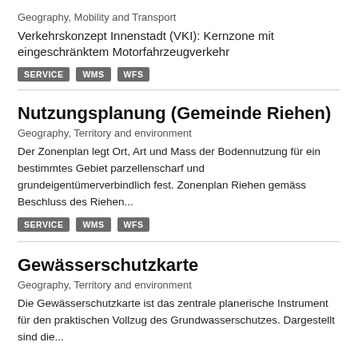Geography, Mobility and Transport
Verkehrskonzept Innenstadt (VKI): Kernzone mit eingeschränktem Motorfahrzeugverkehr
SERVICE   WMS   WFS
Nutzungsplanung (Gemeinde Riehen)
Geography, Territory and environment
Der Zonenplan legt Ort, Art und Mass der Bodennutzung für ein bestimmtes Gebiet parzellenscharf und grundeigentümerverbindlich fest. Zonenplan Riehen gemäss Beschluss des Riehen...
SERVICE   WMS   WFS
Gewässerschutzkarte
Geography, Territory and environment
Die Gewässerschutzkarte ist das zentrale planerische Instrument für den praktischen Vollzug des Grundwasserschutzes. Dargestellt sind die...